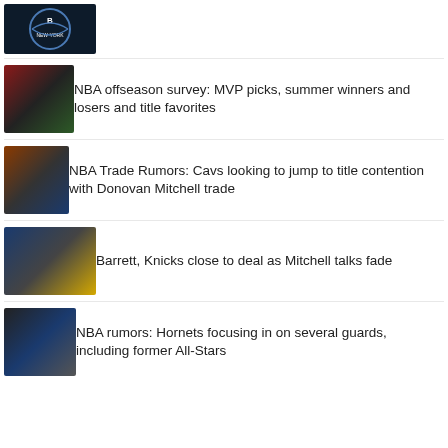[Figure (photo): Brooklyn Nets logo on dark background]
[Figure (photo): NBA players LeBron James and Giannis Antetokounmpo on court]
NBA offseason survey: MVP picks, summer winners and losers and title favorites
[Figure (photo): NBA players in game action, Cavaliers vs Golden State]
NBA Trade Rumors: Cavs looking to jump to title contention with Donovan Mitchell trade
[Figure (photo): Knicks players in game action]
Barrett, Knicks close to deal as Mitchell talks fade
[Figure (photo): Hornets player wearing number 8 jersey, Walker]
NBA rumors: Hornets focusing in on several guards, including former All-Stars